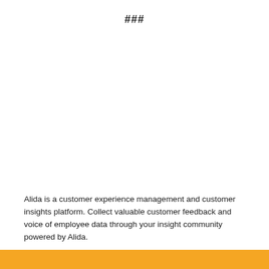###
Alida is a customer experience management and customer insights platform. Collect valuable customer feedback and voice of employee data through your insight community powered by Alida.